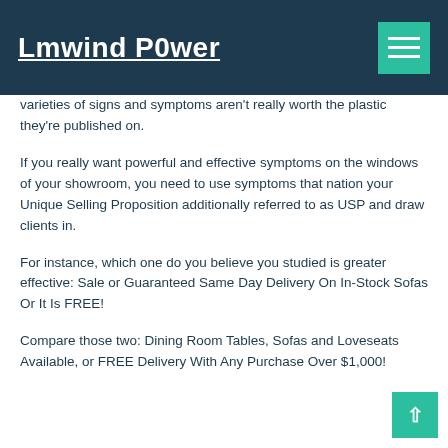Lmwind P0wer
varieties of signs and symptoms aren't really worth the plastic they're published on.
If you really want powerful and effective symptoms on the windows of your showroom, you need to use symptoms that nation your Unique Selling Proposition additionally referred to as USP and draw clients in.
For instance, which one do you believe you studied is greater effective: Sale or Guaranteed Same Day Delivery On In-Stock Sofas Or It Is FREE!
Compare those two: Dining Room Tables, Sofas and Loveseats Available, or FREE Delivery With Any Purchase Over $1,000!